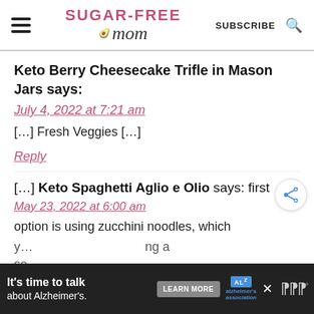Sugar-Free Mom — SUBSCRIBE [search]
Keto Berry Cheesecake Trifle in Mason Jars says:
July 4, 2022 at 7:21 am
[...] Fresh Veggies [...]
Reply
[...] Keto Spaghetti Aglio e Olio says: first May 23, 2022 at 6:00 am
option is using zucchini noodles, which
It's time to talk about Alzheimer's. LEARN MORE